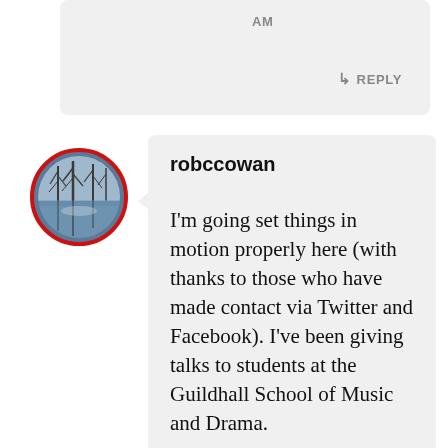AM
↳ REPLY
[Figure (illustration): Circular avatar photo of a winter scene with bare trees reflected in water, outlined with a red ring border]
robccowan
I'm going set things in motion properly here (with thanks to those who have made contact via Twitter and Facebook). I've been giving talks to students at the Guildhall School of Music and Drama.